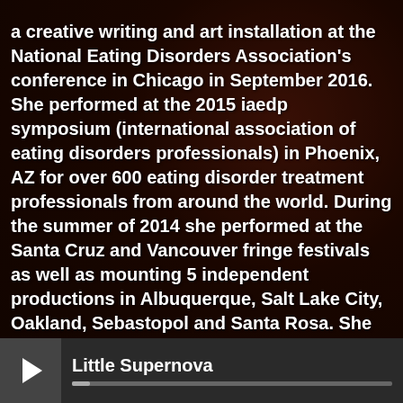a creative writing and art installation at the National Eating Disorders Association's conference in Chicago in September 2016. She performed at the 2015 iaedp symposium (international association of eating disorders professionals) in Phoenix, AZ for over 600 eating disorder treatment professionals from around the world. During the summer of 2014 she performed at the Santa Cruz and Vancouver fringe festivals as well as mounting 5 independent productions in Albuquerque, Salt Lake City, Oakland, Sebastopol and Santa Rosa. She has also performed selections from the piece at the Seattle, WA and Portland, OR NEDA walks and she attended the 2010 NEDA conference in Brooklyn, NY. Add text
[Figure (logo): Poison Apple logo - circular red/orange text on dark purple/maroon background]
Little Supernova